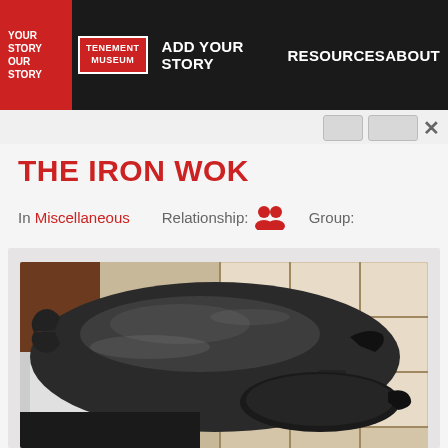YOUR STORY OUR STORY | TENEMENT MUSEUM | ADD YOUR STORY | RESOURCES | ABOUT
THE IRON WOK
In Miscellaneous   Relationship: [people icon]   Group:
[Figure (photo): An iron wok with a lid viewed from above, sitting on a stove with white tiled background visible]